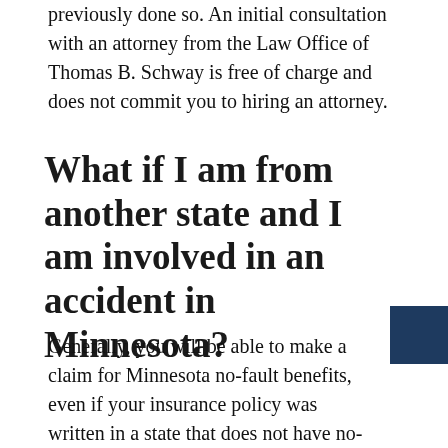previously done so. An initial consultation with an attorney from the Law Office of Thomas B. Schway is free of charge and does not commit you to hiring an attorney.
What if I am from another state and I am involved in an accident in Minnesota?
Generally, you will be able to make a claim for Minnesota no-fault benefits, even if your insurance policy was written in a state that does not have no-fault insurance. If you are unsure whether you are entitled to make a no-fault claim, but you have sustained injuries